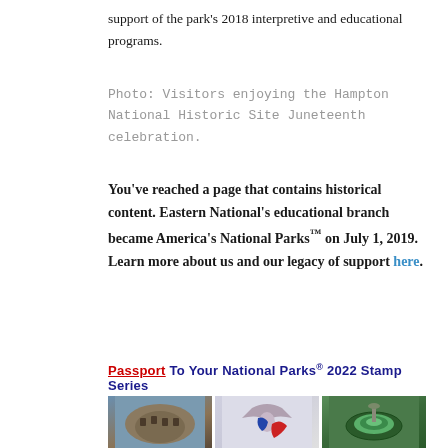support of the park's 2018 interpretive and educational programs.
Photo: Visitors enjoying the Hampton National Historic Site Juneteenth celebration.
You've reached a page that contains historical content. Eastern National's educational branch became America's National Parks™ on July 1, 2019. Learn more about us and our legacy of support here.
[Figure (other): Passport To Your National Parks 2022 Stamp Series banner with three photos: a round stone fort tower, an eagle/star logo graphic, and a circular garden fountain.]